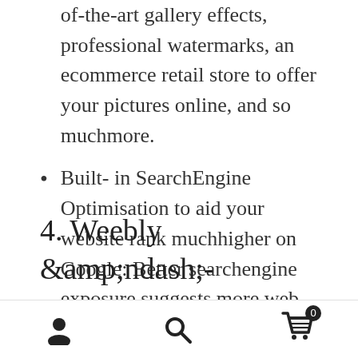of-the-art gallery effects, professional watermarks, an ecommerce retail store to offer your pictures online, and so muchmore.
Built- in SearchEngine Optimisation to aid your website rank muchhigher on Google: Better searchengine exposure suggests more web traffic to your website and also even more potential customers for you. WordPress is an SEO-friendly platform that lets you improve your web content and also adjust the specialized information.
4. Weebly &amp;amp;ndash;–
User icon | Search icon | Cart (0)